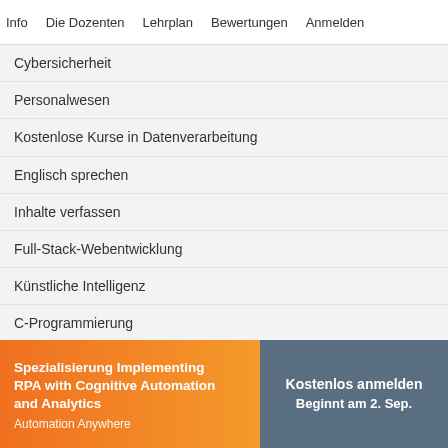Info   Die Dozenten   Lehrplan   Bewertungen   Anmelden
Cybersicherheit
Personalwesen
Kostenlose Kurse in Datenverarbeitung
Englisch sprechen
Inhalte verfassen
Full-Stack-Webentwicklung
Künstliche Intelligenz
C-Programmierung
Kommunikationsfähigkeiten
Blockchain
Alle Kurse anzeigen
Spezialisierung Implementing RPA with Cognitive Automation and Analytics
Automation Anywhere
Kostenlos anmelden
Beginnt am 2. Sep.